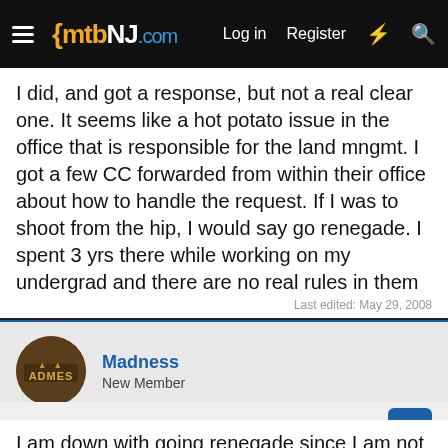mtbNJ.com — Log in | Register
I did, and got a response, but not a real clear one. It seems like a hot potato issue in the office that is responsible for the land mngmt. I got a few CC forwarded from within their office about how to handle the request. If I was to shoot from the hip, I would say go renegade. I spent 3 yrs there while working on my undergrad and there are no real rules in them there woods. If you dress up like a gay male(or Ken), you will be totally under the radar. All of the stories of that place are true -except the ones about FFT!!
Last edited: May 29, 2008
Madness
New Member
May 29, 2008
I am down with going renegade since I am not the only one that hasn't figured out what the deal is in doing it official. Cause it seems like by the time we get the actual ok it will be snowing at